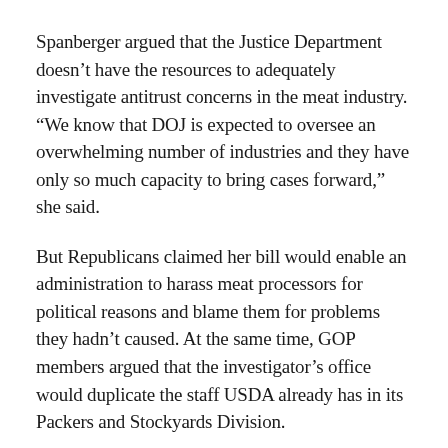Spanberger argued that the Justice Department doesn't have the resources to adequately investigate antitrust concerns in the meat industry. “We know that DOJ is expected to oversee an overwhelming number of industries and they have only so much capacity to bring cases forward,” she said.
But Republicans claimed her bill would enable an administration to harass meat processors for political reasons and blame them for problems they hadn't caused. At the same time, GOP members argued that the investigator's office would duplicate the staff USDA already has in its Packers and Stockyards Division.
All of the major livestock and poultry industry groups, including the National Cattlemen's Beef Association, National Pork Producers Council and National Chicken Council, are opposed to the legislation.